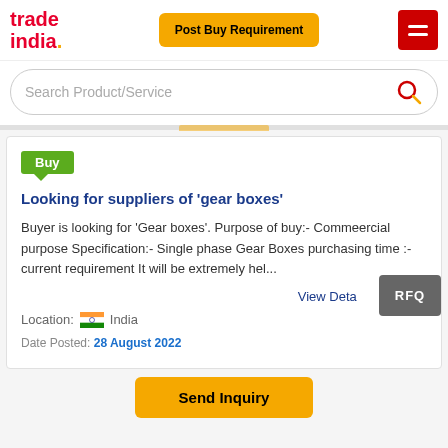[Figure (logo): TradeIndia logo with red text and gold dot]
Post Buy Requirement
[Figure (other): Hamburger menu icon (red background, white lines)]
Search Product/Service
Buy
Looking for suppliers of 'gear boxes'
Buyer is looking for 'Gear boxes'. Purpose of buy:- Commeercial purpose Specification:- Single phase Gear Boxes purchasing time :-current requirement It will be extremely hel...
View Deta
Location: India
Date Posted: 28 August 2022
Send Inquiry